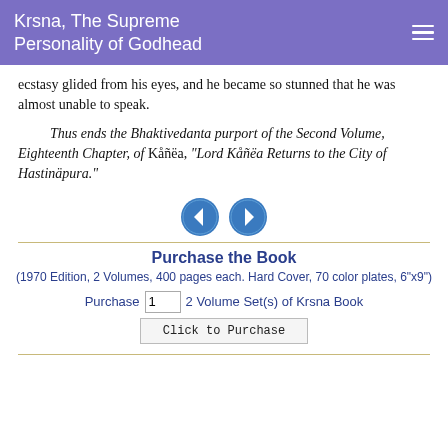Krsna, The Supreme Personality of Godhead
ecstasy glided from his eyes, and he became so stunned that he was almost unable to speak.
Thus ends the Bhaktivedanta purport of the Second Volume, Eighteenth Chapter, of Kåñëa, "Lord Kåñëa Returns to the City of Hastinäpura."
[Figure (other): Navigation arrows: left arrow circle and right arrow circle]
Purchase the Book
(1970 Edition, 2 Volumes, 400 pages each. Hard Cover, 70 color plates, 6"x9")
Purchase 1 2 Volume Set(s) of Krsna Book
Click to Purchase